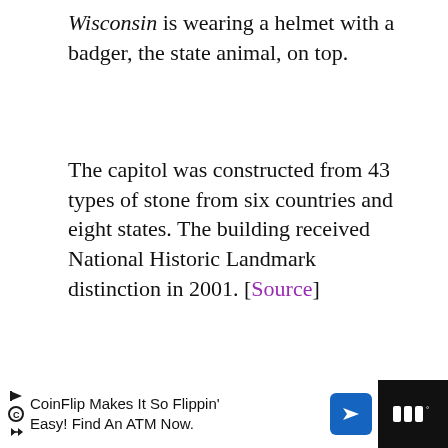Wisconsin is wearing a helmet with a badger, the state animal, on top.
The capitol was constructed from 43 types of stone from six countries and eight states. The building received National Historic Landmark distinction in 2001. [Source]
[Figure (photo): Two vintage postcards side by side: left shows classical columns of Wisconsin State Capitol in black and white; right shows colored postcard of Capitol dome from State Street, Madison, WI. UI overlays include heart/like button (purple), count 19, share button, and 'What's Next' card showing 'Free Printable Vintage...']
CoinFlip Makes It So Flippin' Easy! Find An ATM Now.